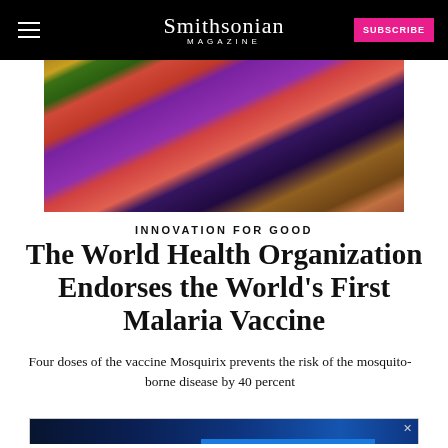Smithsonian MAGAZINE | SUBSCRIBE
[Figure (photo): A child receiving oral medication or vaccine drops, held by adults in colorful clothing]
INNOVATION FOR GOOD
The World Health Organization Endorses the World's First Malaria Vaccine
Four doses of the vaccine Mosquirix prevents the risk of the mosquito-borne disease by 40 percent
Elizabeth Gamillo
[Figure (screenshot): Advertisement: Get the Disney Bundle — Hulu, Disney+, ESPN+. Incl. Hulu (ad-supported) or Hulu (No Ads). Access content from each service separately. ©2021 Disney and its related entities.]